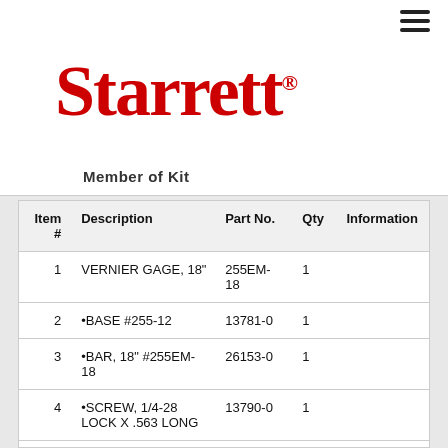[Figure (logo): Starrett logo in red with registered trademark symbol]
Member of Kit
| Item # | Description | Part No. | Qty | Information |
| --- | --- | --- | --- | --- |
| 1 | VERNIER GAGE, 18" | 255EM-18 | 1 |  |
| 2 | •BASE #255-12 | 13781-0 | 1 |  |
| 3 | •BAR, 18" #255EM-18 | 26153-0 | 1 |  |
| 4 | •SCREW, 1/4-28 LOCK X .563 LONG | 13790-0 | 1 |  |
| 5 | •SLIDE | 13794-0 | 1 |  |
| 6 | •PLATE,VERNIER | 13788-0 | 1 |  |
| 7 | •PLATE,VERNIER | 86154-0 | 1 |  |